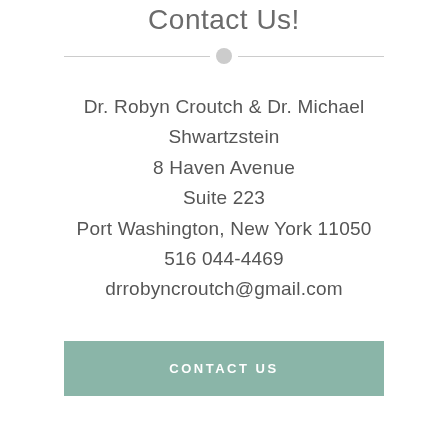Contact Us!
Dr. Robyn Croutch & Dr. Michael Shwartzstein
8 Haven Avenue
Suite 223
Port Washington, New York 11050
516 044-4469
drrobyncroutch@gmail.com
CONTACT US